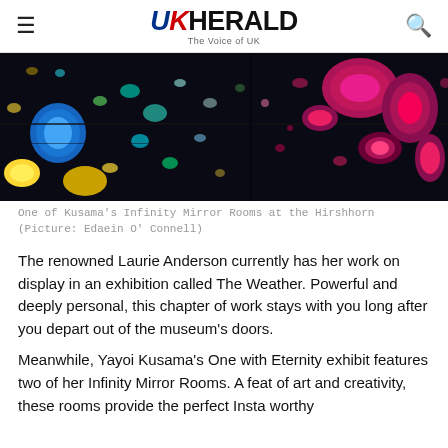UK HERALD — The Voice of UK
[Figure (photo): Kusama's Infinity Mirror Room with colorful dots on dark background — blues, yellows, greens on left, magenta/pink on right]
One of Kusama's Infinity Mirror Rooms at the Hirshhorn (Picture: Edaein O' Connell)
The renowned Laurie Anderson currently has her work on display in an exhibition called The Weather. Powerful and deeply personal, this chapter of work stays with you long after you depart out of the museum's doors.
Meanwhile, Yayoi Kusama's One with Eternity exhibit features two of her Infinity Mirror Rooms. A feat of art and creativity, these rooms provide the perfect Insta worthy